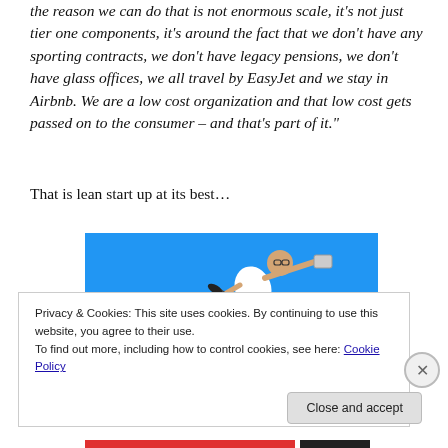the reason we can do that is not enormous scale, it's not just tier one components, it's around the fact that we don't have any sporting contracts, we don't have legacy pensions, we don't have glass offices, we all travel by EasyJet and we stay in Airbnb. We are a low cost organization and that low cost gets passed on to the consumer – and that's part of it."
That is lean start up at its best…
[Figure (photo): Photo of a person leaping horizontally against a bright blue sky background, arms outstretched, wearing a white shirt and dark pants.]
Privacy & Cookies: This site uses cookies. By continuing to use this website, you agree to their use.
To find out more, including how to control cookies, see here: Cookie Policy
Close and accept